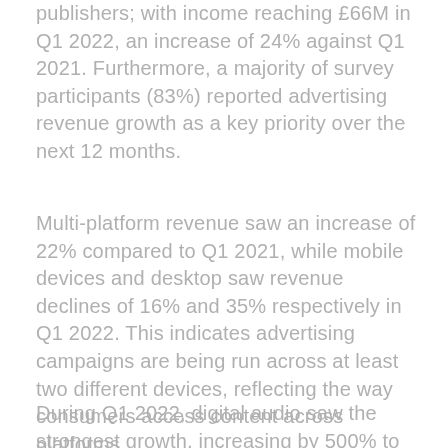publishers; with income reaching £66M in Q1 2022, an increase of 24% against Q1 2021. Furthermore, a majority of survey participants (83%) reported advertising revenue growth as a key priority over the next 12 months.
Multi-platform revenue saw an increase of 22% compared to Q1 2021, while mobile devices and desktop saw revenue declines of 16% and 35% respectively in Q1 2022. This indicates advertising campaigns are being run across at least two different devices, reflecting the way consumers access content across platforms.
During Q1 2022, digital audio saw the strongest growth, increasing by 500% to